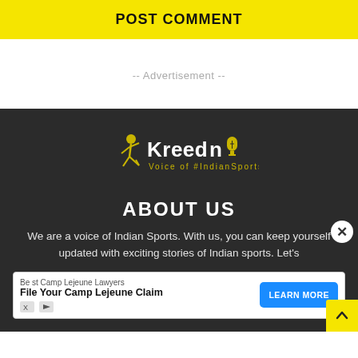POST COMMENT
-- Advertisement --
[Figure (logo): KreedOn logo with tagline 'Voice of #IndianSports' on dark background]
ABOUT US
We are a voice of Indian Sports. With us, you can keep yourself updated with exciting stories of Indian sports. Let's
[Figure (infographic): Advertisement banner: Best Camp Lejeune Lawyers - File Your Camp Lejeune Claim - LEARN MORE button in blue]